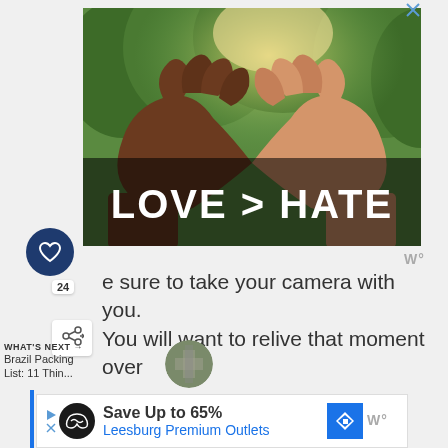[Figure (photo): Advertisement showing two hands forming a heart shape with bright sunlit green trees in background, with bold white text 'LOVE > HATE' overlaid at the bottom of the image]
sure to take your camera with you. you will want to relive that moment over
WHAT'S NEXT → Brazil Packing List: 11 Thin...
[Figure (screenshot): Advertisement for Leesburg Premium Outlets: 'Save Up to 65%' with logo and navigation icon]